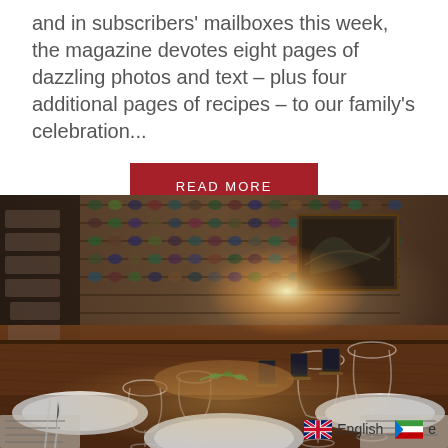and in subscribers' mailboxes this week, the magazine devotes eight pages of dazzling photos and text – plus four additional pages of recipes – to our family's celebration...
READ MORE
[Figure (photo): Restaurant dining table set with wine glasses, white square plates, menus, and small chalkboard menu signs. Background shows a wine cellar wall with bottles. Warm ambient lighting.]
English